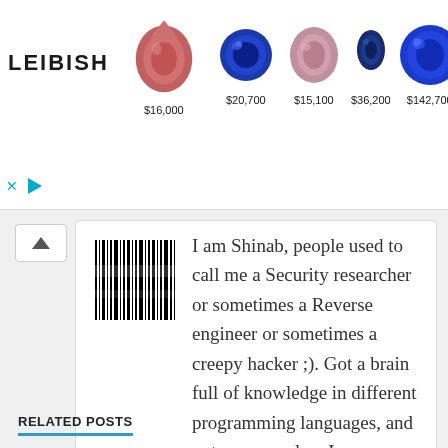[Figure (screenshot): Leibish jewelry ad banner showing gemstones with prices: $16,000, $20,700, $15,100, $36,200, $142,700]
I am Shinab, people used to call me a Security researcher or sometimes a Reverse engineer or sometimes a creepy hacker ;). Got a brain full of knowledge in different programming languages, and not more nor less I am a blogger too :).
RELATED POSTS